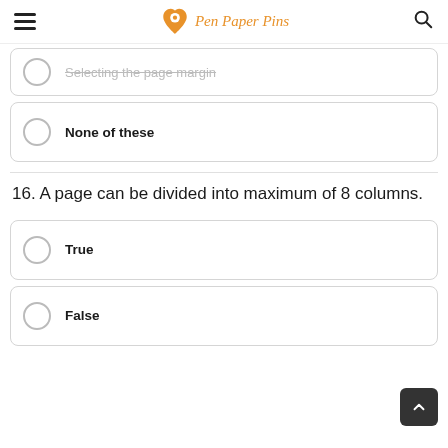Pen Paper Pins
Selecting the page margin (clipped/partial)
None of these
16. A page can be divided into maximum of 8 columns.
True
False